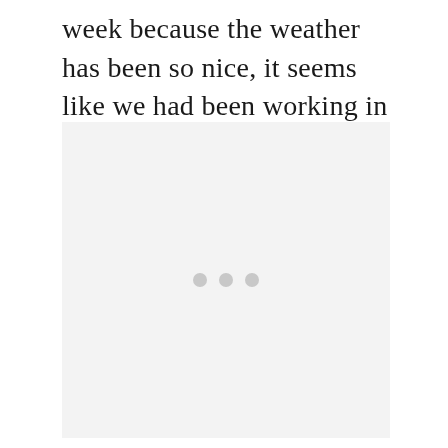week because the weather has been so nice, it seems like we had been working in the yard non stop.
[Figure (other): A light gray placeholder image area with three small gray dots centered in the lower portion, indicating a loading or missing image state.]